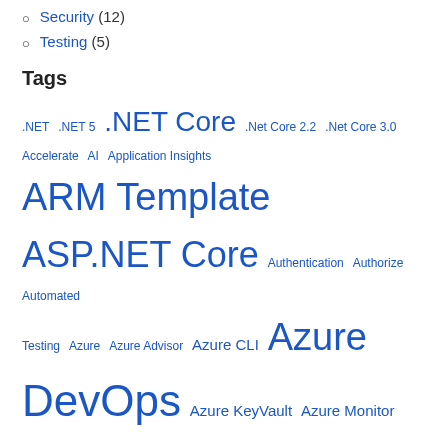Security (12)
Testing (5)
Tags
.NET .NET 5 .NET Core .Net Core 2.2 .Net Core 3.0 Accelerate AI Application Insights ARM Template ASP.NET Core Authentication Authorize Automated Testing Azure Azure Advisor Azure CLI Azure DevOps Azure KeyVault Azure Monitor Azure Pipelines Azure SQL Azure Storage Azure Web App Branch Policies CD CI CM Code Coverage Cognitive Services CredScan Data DependaBot Deployment Frequency